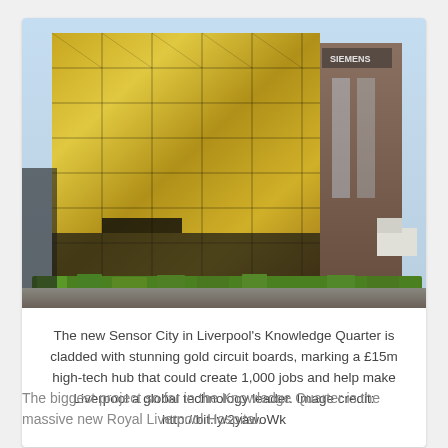[Figure (photo): Photograph of the new Sensor City building in Liverpool's Knowledge Quarter, showing a modern building clad with gold circuit board panels, with city buildings and a radio tower visible in the background, green foliage at the base.]
The new Sensor City in Liverpool's Knowledge Quarter is cladded with stunning gold circuit boards, marking a £15m high-tech hub that could create 1,000 jobs and help make Liverpool a global technology leader. Image credit: http://bit.ly/2yawoWk
The biggest project so far in the Knowledge Quarter is the massive new Royal Liverpool Hospital.